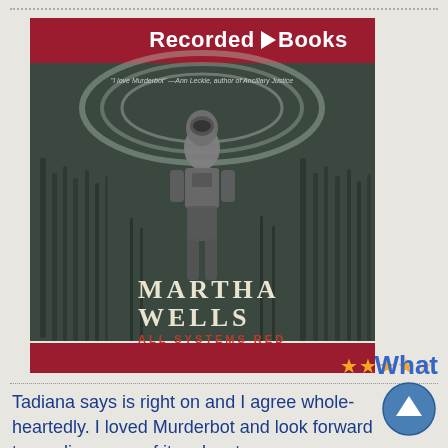[Figure (illustration): Audiobook cover for 'All Systems Red' by Martha Wells, The Murderbot Diaries, narrated by Kevin R. Free. Published by Recorded Books. Cover shows a figure in a robotic suit standing in a dark alien landscape. Red banner at top with Recorded Books logo, red bar at bottom.]
What
Tadiana says is right on and I agree whole-heartedly. I loved Murderbot and look forward to reading more of its adventures.